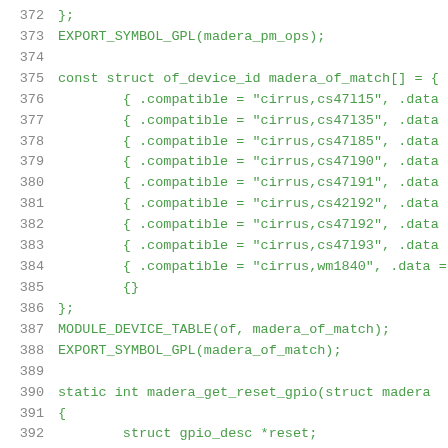Code listing lines 372-392, C source code for madera driver
372    };
373    EXPORT_SYMBOL_GPL(madera_pm_ops);
374
375    const struct of_device_id madera_of_match[] = {
376            { .compatible = "cirrus,cs47l15", .data
377            { .compatible = "cirrus,cs47l35", .data
378            { .compatible = "cirrus,cs47l85", .data
379            { .compatible = "cirrus,cs47l90", .data
380            { .compatible = "cirrus,cs47l91", .data
381            { .compatible = "cirrus,cs42l92", .data
382            { .compatible = "cirrus,cs47l92", .data
383            { .compatible = "cirrus,cs47l93", .data
384            { .compatible = "cirrus,wm1840", .data =
385            {}
386    };
387    MODULE_DEVICE_TABLE(of, madera_of_match);
388    EXPORT_SYMBOL_GPL(madera_of_match);
389
390    static int madera_get_reset_gpio(struct madera
391    {
392            struct gpio_desc *reset;
393